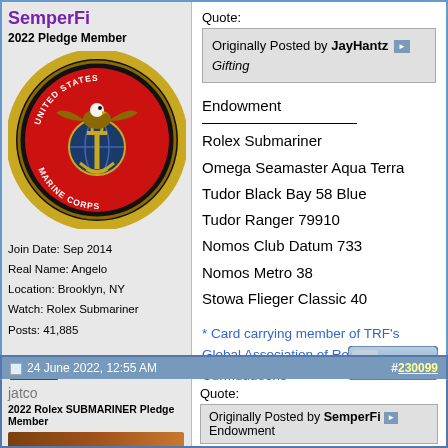SemperFi
2022 Pledge Member
[Figure (photo): United States Marine Corps emblem — circular black seal with gold eagle, globe and anchor on red background, gold rope border, text 'UNITED STATES MARINE CORPS']
Join Date: Sep 2014
Real Name: Angelo
Location: Brooklyn, NY
Watch: Rolex Submariner
Posts: 41,885
offline
Quote:
Originally Posted by JayHantz
Gifting
Endowment

Rolex Submariner
Omega Seamaster Aqua Terra
Tudor Black Bay 58 Blue
Tudor Ranger 79910
Nomos Club Datum 733
Nomos Metro 38
Stowa Flieger Classic 40

* Card carrying member of TRF's Global Association of Retro-Grouch-Curmudgeons *
24 June 2022, 12:55 AM
#230099
jatco
2022 Rolex SUBMARINER Pledge Member
Quote:
Originally Posted by SemperFi
Endowment